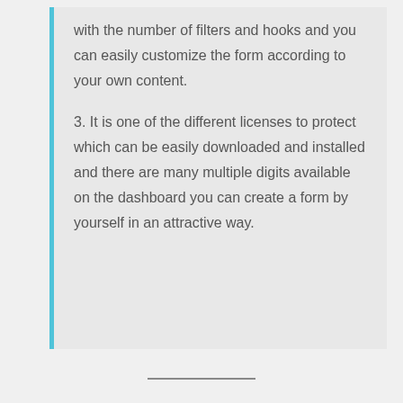with the number of filters and hooks and you can easily customize the form according to your own content.
3. It is one of the different licenses to protect which can be easily downloaded and installed and there are many multiple digits available on the dashboard you can create a form by yourself in an attractive way.